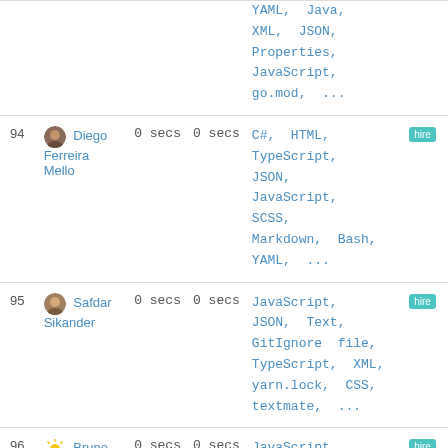| # | User | Time | Time | Languages | Badge |
| --- | --- | --- | --- | --- | --- |
|  |  |  |  | YAML, Java, XML, JSON, Properties, JavaScript, go.mod, ... |  |
| 94 | Diego Ferreira Mello | 0 secs | 0 secs | C#, HTML, TypeScript, JSON, JavaScript, SCSS, Markdown, Bash, YAML, ... | hired |
| 95 | Safdar Sikander | 0 secs | 0 secs | JavaScript, JSON, Text, GitIgnore file, TypeScript, XML, yarn.lock, CSS, textmate, ... | hired |
| 96 | Bruno Ricardo | 0 secs | 0 secs | JavaScript, TypeScript, Blade Template, HTML, JSON, PHP, Bash, | hired |